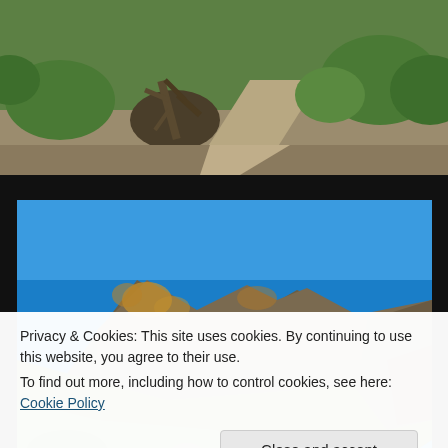[Figure (photo): Outdoor mountain trail photo — green grassy slope with a dirt path, a fallen dead tree on the left, green shrubs and alpine vegetation visible, bright sunny day.]
[Figure (photo): Outdoor mountain landscape photo — rocky ridge with lichen-covered boulders against a clear blue sky, green alpine meadow with yellow wildflowers (arrowleaf balsamroot) blooming in the foreground, a dirt trail winding through, sunny day.]
Privacy & Cookies: This site uses cookies. By continuing to use this website, you agree to their use.
To find out more, including how to control cookies, see here: Cookie Policy
Close and accept